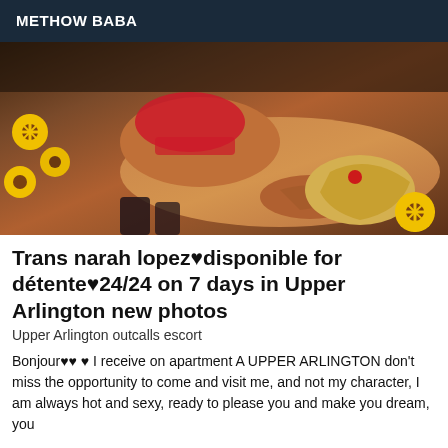METHOW BABA
[Figure (photo): Woman with tattoos and blonde hair in red lingerie lying on a patterned floor with sunflowers around her]
Trans narah lopez♥disponible for détente♥24/24 on 7 days in Upper Arlington new photos
Upper Arlington outcalls escort
Bonjour♥♥ ♥ I receive on apartment A UPPER ARLINGTON don't miss the opportunity to come and visit me, and not my character, I am always hot and sexy, ready to please you and make you dream, you